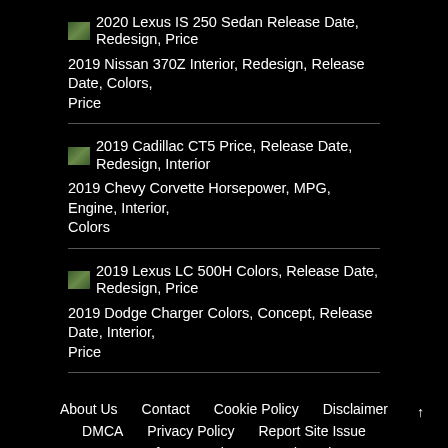2020 Lexus IS 250 Sedan Release Date, Redesign, Price
2019 Nissan 370Z Interior, Redesign, Release Date, Colors, Price
2019 Cadillac CT5 Price, Release Date, Redesign, Interior
2019 Chevy Corvette Horsepower, MPG, Engine, Interior, Colors
2019 Lexus LC 500H Colors, Release Date, Redesign, Price
2019 Dodge Charger Colors, Concept, Release Date, Interior, Price
About Us   Contact   Cookie Policy   Disclaimer   DMCA   Privacy Policy   Report Site Issue   Terms of Use   The Cars and Trucks